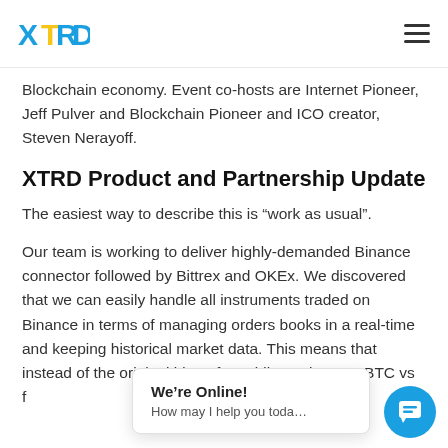XTRD
Blockchain economy. Event co-hosts are Internet Pioneer, Jeff Pulver and Blockchain Pioneer and ICO creator, Steven Nerayoff.
XTRD Product and Partnership Update
The easiest way to describe this is “work as usual”.
Our team is working to deliver highly-demanded Binance connector followed by Bittrex and OKEx. We discovered that we can easily handle all instruments traded on Binance in terms of managing orders books in a real-time and keeping historical market data. This means that instead of the original idea of providing only ETH, BTC vs f... gi... access to the vast...
We’re Online! How may I help you toda...